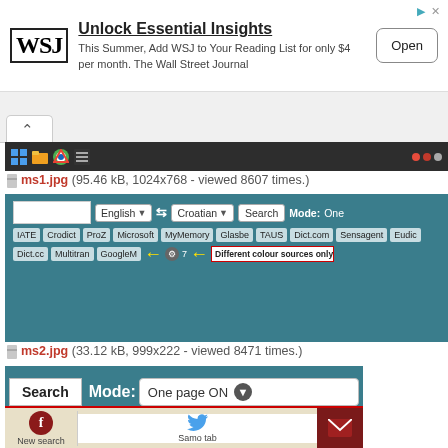[Figure (screenshot): WSJ advertisement banner: 'Unlock Essential Insights' with logo, subtitle, and Open button]
[Figure (screenshot): Browser tab bar with up caret tab]
[Figure (screenshot): Windows taskbar with icons]
ms1.jpg (95.46 kB, 1024x768 - viewed 8607 times.)
[Figure (screenshot): Translation tool interface showing English to Croatian search with tabs: IATE, Crodict, ProZ, Microsoft, MyMemory, Glasbe, TAUS, Dict.com, Sensagent, Eudict; second row: Dict.cc, Multitran, GoogleM, with yellow arrows, gear icon, number 7, and 'Different colour sources only ope...' box]
ms2.jpg (33.12 kB, 999x222 - viewed 8471 times.)
[Figure (screenshot): Translation tool Mode dropdown showing 'One page ON' selected in blue, with 'page OFF' and 'Samo tab' options below. Bottom row shows New search with Facebook icon, Twitter icon, and mail icon.]